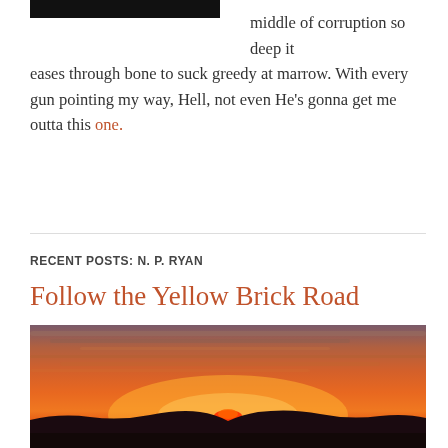middle of corruption so deep it eases through bone to suck greedy at marrow. With every gun pointing my way, Hell, not even He's gonna get me outta this one.
RECENT POSTS: N. P. RYAN
Follow the Yellow Brick Road
[Figure (photo): Dramatic sunset photograph showing the sun just at the horizon beneath a dark silhouetted mountain ridge, with vivid orange and red sky streaked with clouds.]